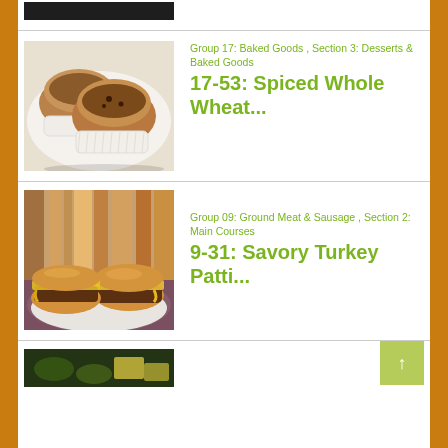[Figure (photo): Partially visible food photo at top (cropped)]
[Figure (photo): Two spiced whole wheat muffins in paper cups on a white plate]
Group 17: Baked Goods , Section 3: Desserts & Baked Goods
17-53: Spiced Whole Wheat...
[Figure (photo): Savory turkey patties with melted cheese on buns on a plate]
Group 09: Ground Meat & Sausage , Section 2: Main Courses
9-31: Savory Turkey Patti...
[Figure (photo): Partially visible food photo at bottom (cropped)]